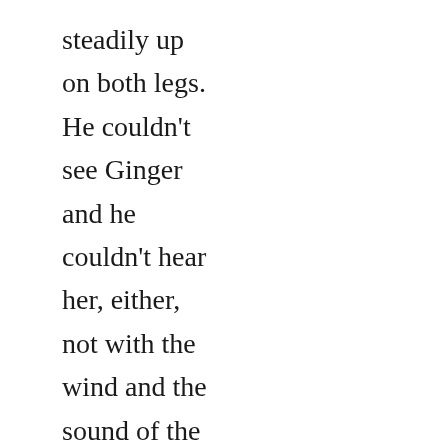steadily up on both legs. He couldn't see Ginger and he couldn't hear her, either, not with the wind and the sound of the propellers. He also couldn't see the snake that'd brought